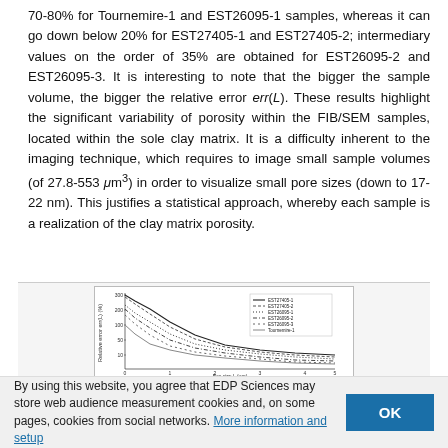70-80% for Tournemire-1 and EST26095-1 samples, whereas it can go down below 20% for EST27405-1 and EST27405-2; intermediary values on the order of 35% are obtained for EST26095-2 and EST26095-3. It is interesting to note that the bigger the sample volume, the bigger the relative error err(L). These results highlight the significant variability of porosity within the FIB/SEM samples, located within the sole clay matrix. It is a difficulty inherent to the imaging technique, which requires to image small sample volumes (of 27.8-553 μm³) in order to visualize small pore sizes (down to 17-22 nm). This justifies a statistical approach, whereby each sample is a realization of the clay matrix porosity.
[Figure (continuous-plot): Two-panel scientific figure. Top panel: line chart showing relative error err(L) (%) vs box size L (μm) for multiple samples: EST27405-1, EST27405-2, EST26095-1, EST26095-2, EST26095-3, Tournemire-1. All curves show decreasing relative error with increasing box size, starting high (~300%) and converging toward lower values (~20-80%). Bottom panel: line/density chart showing porosity distribution curves for different box sizes (L = 0.18 μm, 1.84 μm, 0.67 μm, 0.78 μm), displaying peaked distributions over porosity range 0 to 0.2.]
By using this website, you agree that EDP Sciences may store web audience measurement cookies and, on some pages, cookies from social networks. More information and setup